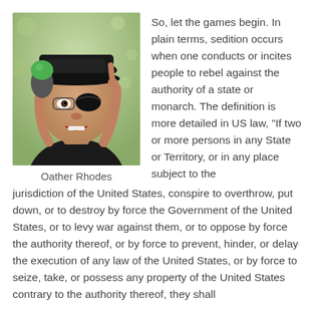[Figure (photo): A man wearing a black cap and an eye patch, speaking into a green-topped microphone at what appears to be an outdoor rally, raising one finger.]
Oather Rhodes
So, let the games begin. In plain terms, sedition occurs when one conducts or incites people to rebel against the authority of a state or monarch. The definition is more detailed in US law, “If two or more persons in any State or Territory, or in any place subject to the jurisdiction of the United States, conspire to overthrow, put down, or to destroy by force the Government of the United States, or to levy war against them, or to oppose by force the authority thereof, or by force to prevent, hinder, or delay the execution of any law of the United States, or by force to seize, take, or possess any property of the United States contrary to the authority thereof, they shall